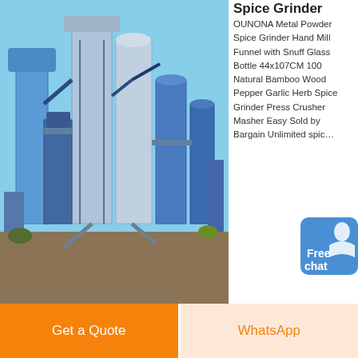[Figure (photo): Industrial powder/spice grinding plant with blue machinery, silos and pipes outdoors under blue sky]
Spice Grinder
OUNONA Metal Powder Spice Grinder Hand Mill Funnel with Snuff Glass Bottle 44x107CM 100 Natural Bamboo Wood Pepper Garlic Herb Spice Grinder Press Crusher Masher Easy Sold by Bargain Unlimited spice nuts and grains 150 w fast fine grinde Sold by Mac Marvel s 24.99 Onetify Premium Stainless Steel Salt and Pepper Spice Grinder
[Figure (other): Free chat button widget with person icon]
Chat Online
[Figure (photo): Large industrial silo or grain storage tank photographed from below against blue sky]
Hand Food Grinder
OUNONA Metal Powder Spice Grinder Hand Mill Funnel with Snuff Glass
Get a Quote
WhatsApp